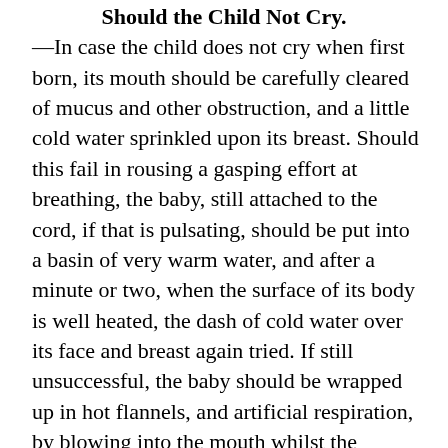Should the Child Not Cry.
—In case the child does not cry when first born, its mouth should be carefully cleared of mucus and other obstruction, and a little cold water sprinkled upon its breast. Should this fail in rousing a gasping effort at breathing, the baby, still attached to the cord, if that is pulsating, should be put into a basin of very warm water, and after a minute or two, when the surface of its body is well heated, the dash of cold water over its face and breast again tried. If still unsuccessful, the baby should be wrapped up in hot flannels, and artificial respiration, by blowing into the mouth whilst the nostrils are held, and then forcing the air